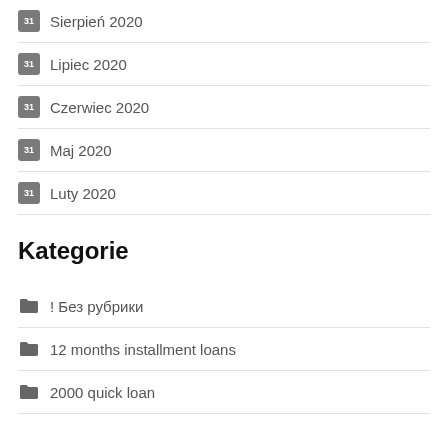Sierpień 2020
Lipiec 2020
Czerwiec 2020
Maj 2020
Luty 2020
Kategorie
! Без рубрики
12 months installment loans
2000 quick loan